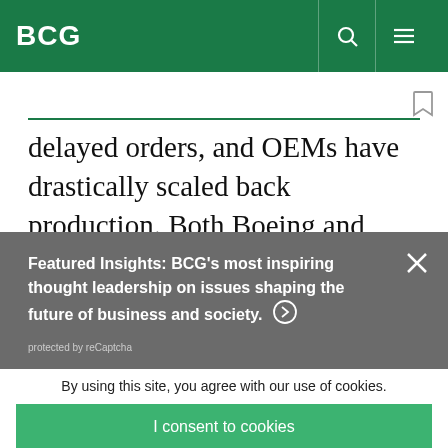BCG
delayed orders, and OEMs have drastically scaled back production. Both Boeing and Airbus have
Featured Insights: BCG's most inspiring thought leadership on issues shaping the future of business and society. → protected by reCaptcha
By using this site, you agree with our use of cookies.
I consent to cookies
Want to know more?
Read our Cookie Policy